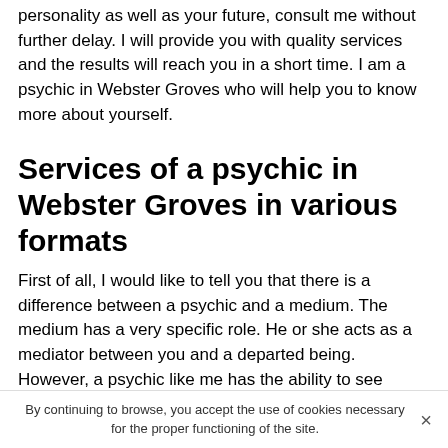personality as well as your future, consult me without further delay. I will provide you with quality services and the results will reach you in a short time. I am a psychic in Webster Groves who will help you to know more about yourself.
Services of a psychic in Webster Groves in various formats
First of all, I would like to tell you that there is a difference between a psychic and a medium. The medium has a very specific role. He or she acts as a mediator between you and a departed being. However, a psychic like me has the ability to see events from your past, present and future. You can ask me about astrology or, as previously mentioned, numerology. As for those who want to know more about themselves through the cards, they should turn to a psychic in Webster Groves like me with tarology skills
By continuing to browse, you accept the use of cookies necessary for the proper functioning of the site.